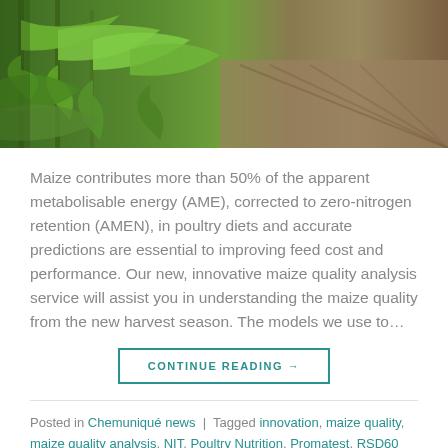[Figure (photo): Photograph of maize/corn plants with green leaves in the foreground and a brown plowed field in the background]
Maize contributes more than 50% of the apparent metabolisable energy (AME), corrected to zero-nitrogen retention (AMEN), in poultry diets and accurate predictions are essential to improving feed cost and performance. Our new, innovative maize quality analysis service will assist you in understanding the maize quality from the new harvest season. The models we use to…
CONTINUE READING →
Posted in Chemuniqué news | Tagged innovation, maize quality, maize quality analysis, NIT, Poultry Nutrition, Promatest, RSD60   1 Comment